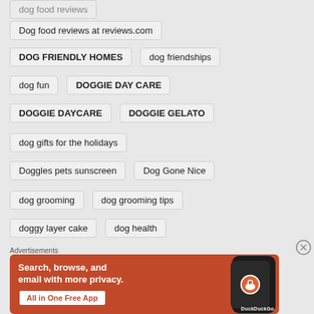dog food reviews
Dog food reviews at reviews.com
DOG FRIENDLY HOMES
dog friendships
dog fun
DOGGIE DAY CARE
DOGGIE DAYCARE
DOGGIE GELATO
dog gifts for the holidays
Doggles pets sunscreen
Dog Gone Nice
dog grooming
dog grooming tips
doggy layer cake
dog health
Advertisements
[Figure (other): DuckDuckGo advertisement banner: orange background with text 'Search, browse, and email with more privacy. All in One Free App' and image of a smartphone showing the DuckDuckGo logo]